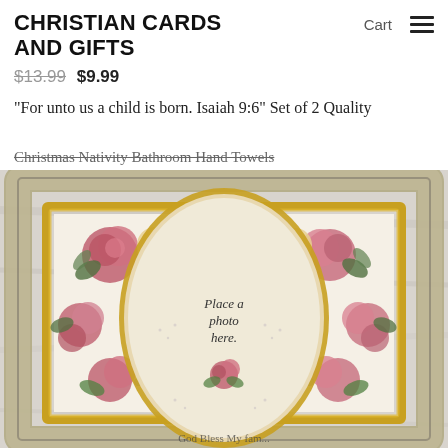CHRISTIAN CARDS AND GIFTS
$13.99 $9.99
"For unto us a child is born. Isaiah 9:6" Set of 2 Quality
Christmas Nativity Bathroom Hand Towels
[Figure (photo): A decorative photo frame with a silver and gold ornate border, featuring a floral arrangement of pink and cream roses with blue accents around an oval mat. The oval center has text reading 'Place a photo here.' with a rose at the bottom.]